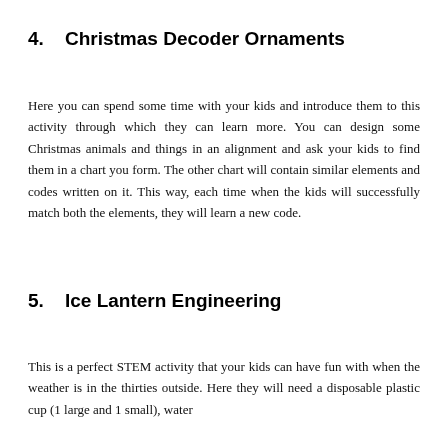4.   Christmas Decoder Ornaments
Here you can spend some time with your kids and introduce them to this activity through which they can learn more. You can design some Christmas animals and things in an alignment and ask your kids to find them in a chart you form. The other chart will contain similar elements and codes written on it. This way, each time when the kids will successfully match both the elements, they will learn a new code.
5.   Ice Lantern Engineering
This is a perfect STEM activity that your kids can have fun with when the weather is in the thirties outside. Here they will need a disposable plastic cup (1 large and 1 small), water